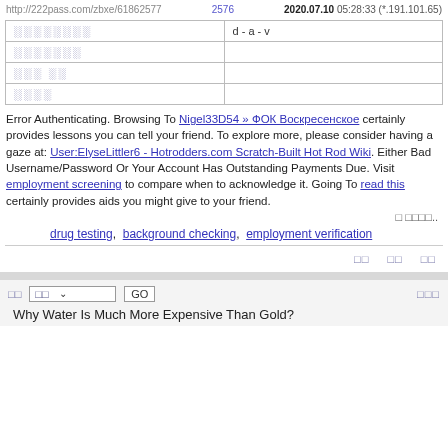http://222pass.com/zbxe/61862577   2576   2020.07.10 05:28:33 (*.191.101.65)
| ░░░░░░░░ | d - a - v |
| ░░░░░░░ |  |
| ░░░ ░░ |  |
| ░░░░ |  |
Error Authenticating. Browsing To Nigel33D54 » ФОК Воскресенское certainly provides lessons you can tell your friend. To explore more, please consider having a gaze at: User:ElyseLittler6 - Hotrodders.com Scratch-Built Hot Rod Wiki. Either Bad Username/Password Or Your Account Has Outstanding Payments Due. Visit employment screening to compare when to acknowledge it. Going To read this certainly provides aids you might give to your friend.
□ □□□□..
drug testing,  background checking,  employment verification
□□   □□   □□
□□   □□   GO   □□□
Why Water Is Much More Expensive Than Gold?